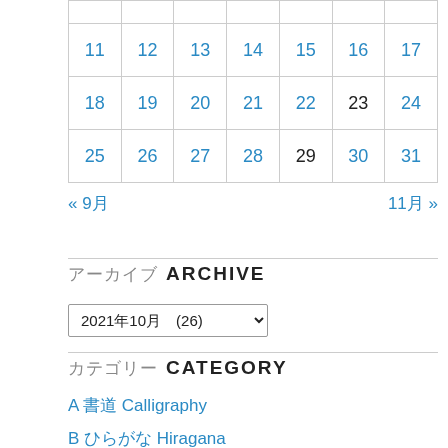|  |  |  |  |  |  |  |
| 11 | 12 | 13 | 14 | 15 | 16 | 17 |
| 18 | 19 | 20 | 21 | 22 | 23 | 24 |
| 25 | 26 | 27 | 28 | 29 | 30 | 31 |
« 9月   11月 »
アーカイブ  ARCHIVE
2021年10月  (26)
カテゴリー  CATEGORY
A 書道 Calligraphy
B ひらがな Hiragana
C カタカナ Katakana